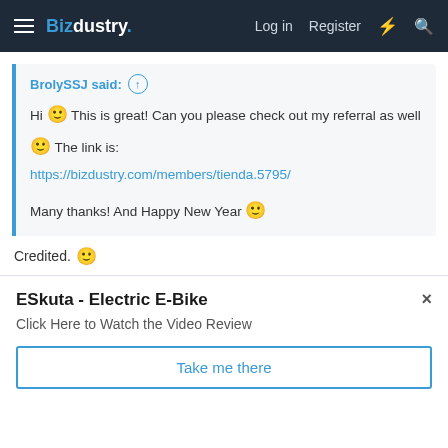Bizdustry. Log in Register
BrolySSJ said: ↑
Hi 🙂 This is great! Can you please check out my referral as well 🙂 The link is:
https://bizdustry.com/members/tienda.5795/

Many thanks! And Happy New Year 🙂
Credited. 🙂
ESkuta - Electric E-Bike
Click Here to Watch the Video Review
Take me there